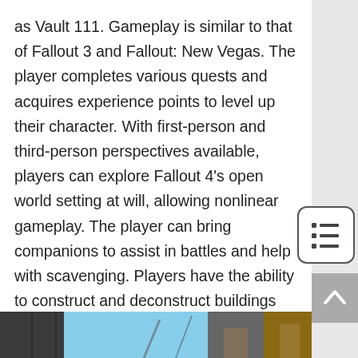as Vault 111. Gameplay is similar to that of Fallout 3 and Fallout: New Vegas. The player completes various quests and acquires experience points to level up their character. With first-person and third-person perspectives available, players can explore Fallout 4's open world setting at will, allowing nonlinear gameplay. The player can bring companions to assist in battles and help with scavenging. Players have the ability to construct and deconstruct buildings and items, and use them to build settlements, which can attract and be inhabited by non-playable characters. – Wikipedia
[Figure (photo): Partial view of a scene from Fallout 4, showing outdoor environment with blue sky and structures]